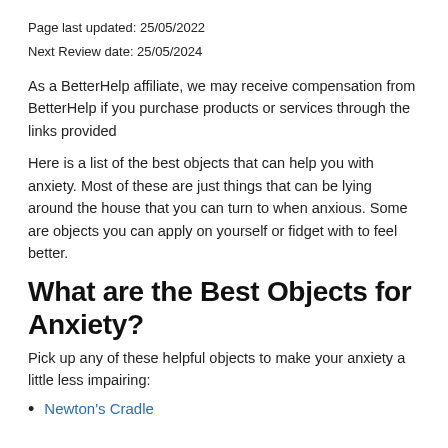Page last updated: 25/05/2022
Next Review date: 25/05/2024
As a BetterHelp affiliate, we may receive compensation from BetterHelp if you purchase products or services through the links provided
Here is a list of the best objects that can help you with anxiety. Most of these are just things that can be lying around the house that you can turn to when anxious. Some are objects you can apply on yourself or fidget with to feel better.
What are the Best Objects for Anxiety?
Pick up any of these helpful objects to make your anxiety a little less impairing:
Newton's Cradle